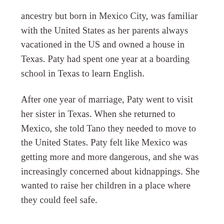ancestry but born in Mexico City, was familiar with the United States as her parents always vacationed in the US and owned a house in Texas. Paty had spent one year at a boarding school in Texas to learn English.
After one year of marriage, Paty went to visit her sister in Texas. When she returned to Mexico, she told Tano they needed to move to the United States. Paty felt like Mexico was getting more and more dangerous, and she was increasingly concerned about kidnappings. She wanted to raise her children in a place where they could feel safe.